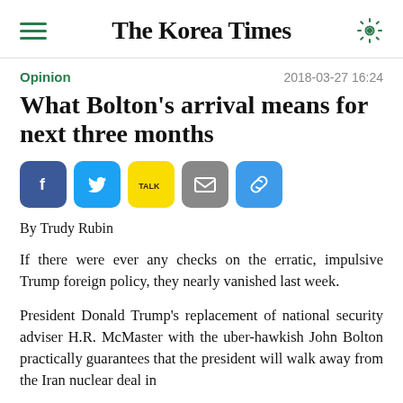The Korea Times
Opinion
2018-03-27 16:24
What Bolton's arrival means for next three months
[Figure (other): Social sharing buttons: Facebook, Twitter, KakaoTalk, Email, Link]
By Trudy Rubin
If there were ever any checks on the erratic, impulsive Trump foreign policy, they nearly vanished last week.
President Donald Trump's replacement of national security adviser H.R. McMaster with the uber-hawkish John Bolton practically guarantees that the president will walk away from the Iran nuclear deal in